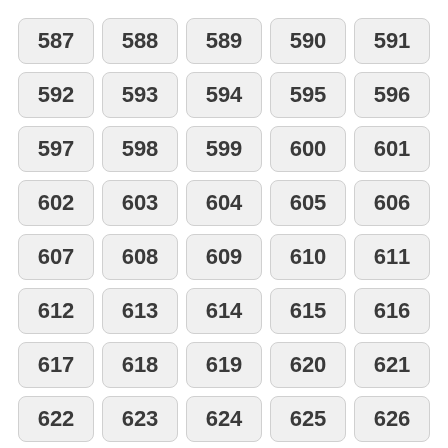| 587 | 588 | 589 | 590 | 591 |
| 592 | 593 | 594 | 595 | 596 |
| 597 | 598 | 599 | 600 | 601 |
| 602 | 603 | 604 | 605 | 606 |
| 607 | 608 | 609 | 610 | 611 |
| 612 | 613 | 614 | 615 | 616 |
| 617 | 618 | 619 | 620 | 621 |
| 622 | 623 | 624 | 625 | 626 |
x